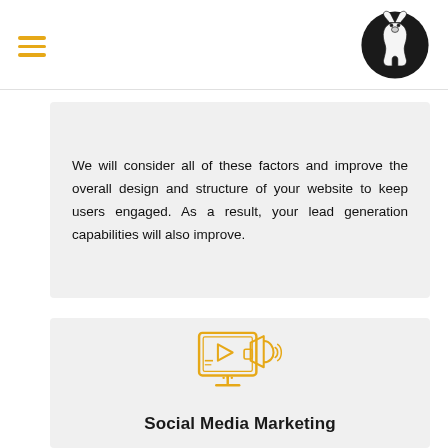We will consider all of these factors and improve the overall design and structure of your website to keep users engaged. As a result, your lead generation capabilities will also improve.
[Figure (illustration): Golden/amber line-art icon of a computer monitor displaying a video play button and a megaphone/loudspeaker, representing social media marketing]
Social Media Marketing